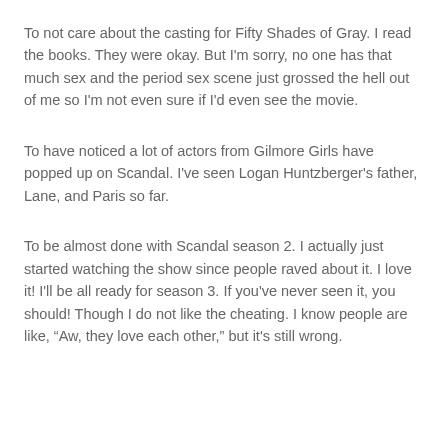To not care about the casting for Fifty Shades of Gray. I read the books. They were okay. But I'm sorry, no one has that much sex and the period sex scene just grossed the hell out of me so I'm not even sure if I'd even see the movie.
To have noticed a lot of actors from Gilmore Girls have popped up on Scandal. I've seen Logan Huntzberger's father, Lane, and Paris so far.
To be almost done with Scandal season 2. I actually just started watching the show since people raved about it. I love it! I'll be all ready for season 3. If you've never seen it, you should! Though I do not like the cheating. I know people are like, “Aw, they love each other,” but it's still wrong.